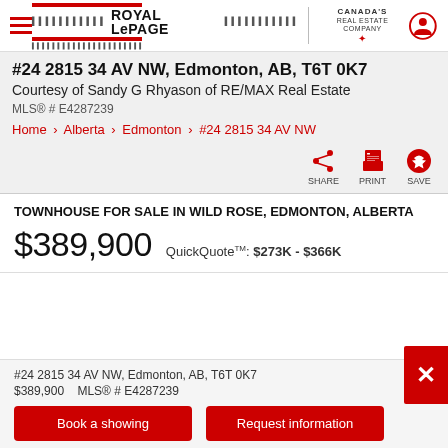Royal LePage | Canada's Real Estate Company
#24 2815 34 AV NW, Edmonton, AB, T6T 0K7
Courtesy of Sandy G Rhyason of RE/MAX Real Estate
MLS® # E4287239
Home > Alberta > Edmonton > #24 2815 34 AV NW
SHARE   PRINT   SAVE
TOWNHOUSE FOR SALE IN WILD ROSE, EDMONTON, ALBERTA
$389,900   QuickQuote™: $273K - $366K
#24 2815 34 AV NW, Edmonton, AB, T6T 0K7
$389,900    MLS® # E4287239
Book a showing
Request information